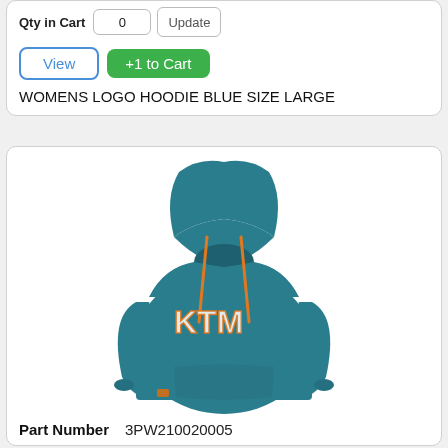Qty in Cart  0  Update
View  +1 to Cart
WOMENS LOGO HOODIE BLUE SIZE LARGE
[Figure (photo): Blue KTM women's logo hoodie with orange drawstrings and KTM logo on chest]
Part Number  3PW210020005